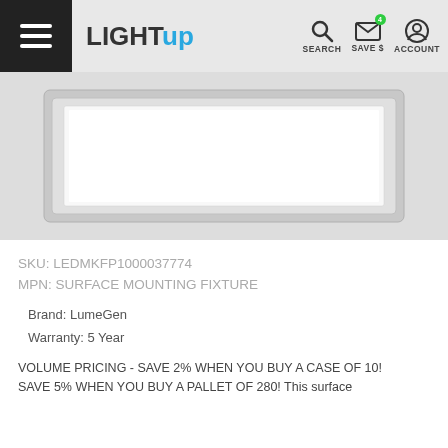LIGHT UP — SEARCH, SAVE $, ACCOUNT
[Figure (photo): LED surface mounting fixture panel light, rectangular, white face with silver/grey frame, shown from front angle on grey background]
SKU: LEDMKFP1000037774
MPN: SURFACE MOUNTING FIXTURE
Brand: LumeGen
Warranty: 5 Year
VOLUME PRICING - SAVE 2% WHEN YOU BUY A CASE OF 10! SAVE 5% WHEN YOU BUY A PALLET OF 280! This surface